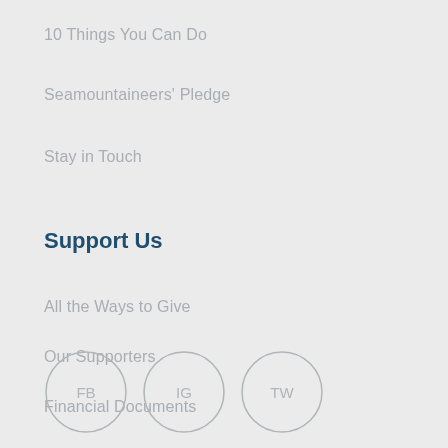10 Things You Can Do
Seamountaineers' Pledge
Stay in Touch
Support Us
All the Ways to Give
Our Supporters
Financial Documents
Donor Privacy Policy
[Figure (infographic): Three social media icon circles labeled FB, IG, and TW]